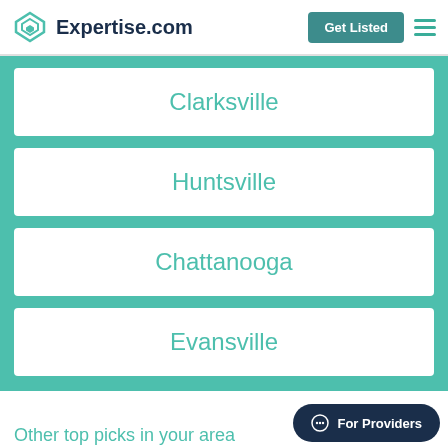Expertise.com | Get Listed
Clarksville
Huntsville
Chattanooga
Evansville
For Providers
Other top picks in your area